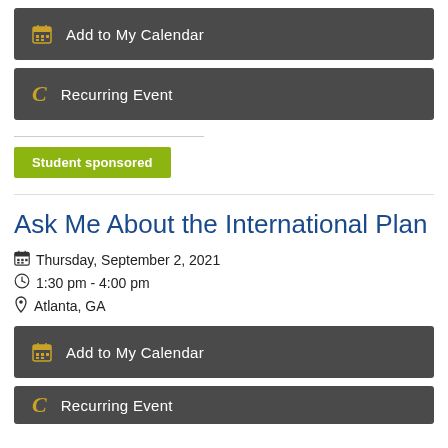Add to My Calendar
Recurring Event
Student sponsored
Ask Me About the International Plan
Thursday, September 2, 2021
1:30 pm - 4:00 pm
Atlanta, GA
Add to My Calendar
Recurring Event